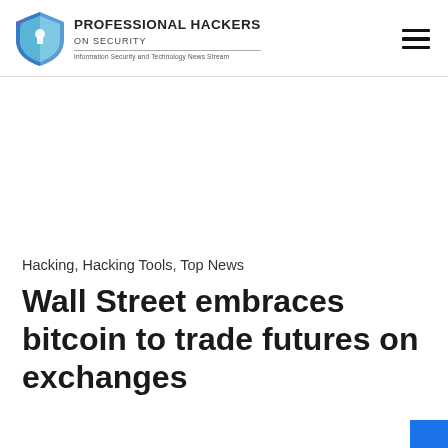Professional Hackers On Security — Information Security and Technology News Stream
Hacking, Hacking Tools, Top News
Wall Street embraces bitcoin to trade futures on exchanges